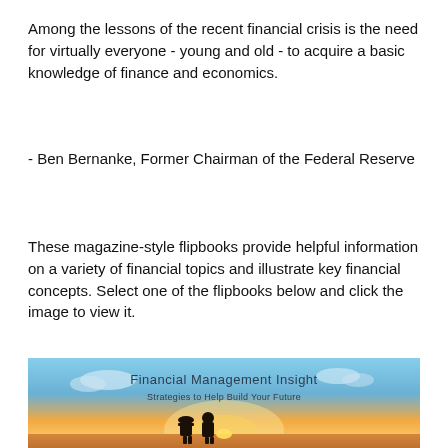Among the lessons of the recent financial crisis is the need for virtually everyone - young and old - to acquire a basic knowledge of finance and economics.
- Ben Bernanke, Former Chairman of the Federal Reserve
These magazine-style flipbooks provide helpful information on a variety of financial topics and illustrate key financial concepts. Select one of the flipbooks below and click the image to view it.
[Figure (illustration): A sunset scene with a couple silhouetted against a colorful sky, overlaid with text 'Financial Management Insight' and subtitle 'Strategies to Help Build Your Future']